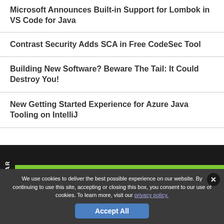Microsoft Announces Built-in Support for Lombok in VS Code for Java
Contrast Security Adds SCA in Free CodeSec Tool
Building New Software? Beware The Tail: It Could Destroy You!
New Getting Started Experience for Azure Java Tooling on IntelliJ
Free White Papers
We use cookies to deliver the best possible experience on our website. By continuing to use this site, accepting or closing this box, you consent to our use of cookies. To learn more, visit our privacy policy.